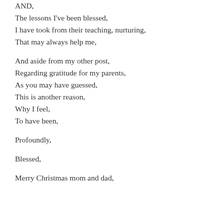AND,
The lessons I've been blessed,
I have took from their teaching, nurturing,
That may always help me,

And aside from my other post,
Regarding gratitude for my parents,
As you may have guessed,
This is another reason,
Why I feel,
To have been,

Profoundly,

Blessed,

Merry Christmas mom and dad,